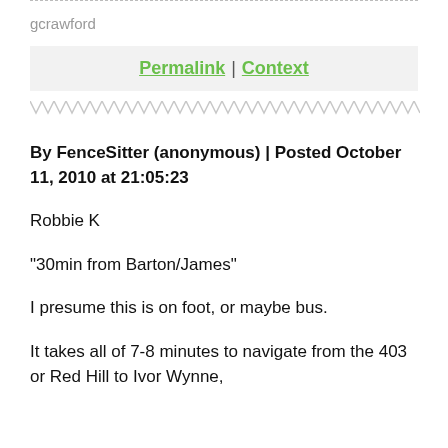gcrawford
Permalink | Context
By FenceSitter (anonymous) | Posted October 11, 2010 at 21:05:23
Robbie K
"30min from Barton/James"
I presume this is on foot, or maybe bus.
It takes all of 7-8 minutes to navigate from the 403 or Red Hill to Ivor Wynne,